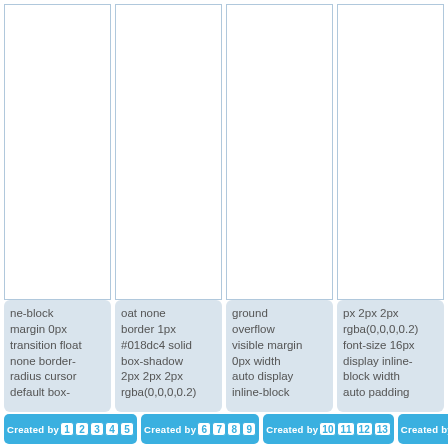[Figure (screenshot): Four column boxes with light blue borders on white background, representing UI column placeholders]
ne-block margin 0px transition float none border-radius cursor default box-
oat none border 1px #018dc4 solid box-shadow 2px 2px 2px rgba(0,0,0,0.2)
ground overflow visible margin 0px width auto display inline-block
px 2px 2px rgba(0,0,0,0.2) font-size 16px display inline-block width auto padding
Created by 1 2 3 4 5 | Created by 6 7 8 9 | Created by 10 11 12 13 | Created by 14 15 16